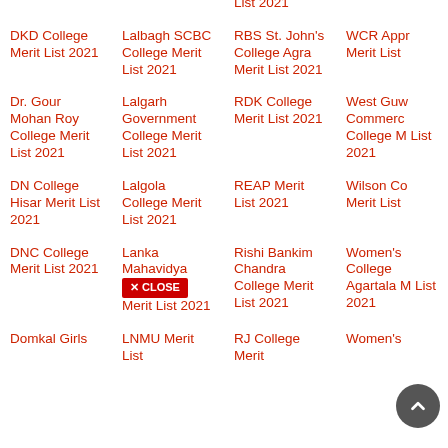Merit List 2021
Merit List 2021
College Merit List 2021
2021
DKD College Merit List 2021
Lalbagh SCBC College Merit List 2021
RBS St. John's College Agra Merit List 2021
WCR Appr Merit List
Dr. Gour Mohan Roy College Merit List 2021
Lalgarh Government College Merit List 2021
RDK College Merit List 2021
West Guw Commerce College M List 2021
DN College Hisar Merit List 2021
Lalgola College Merit List 2021
REAP Merit List 2021
Wilson Co Merit List
DNC College Merit List 2021
Lanka Mahavidya Merit List 2021
Rishi Bankim Chandra College Merit List 2021
Women's College Agartala M List 2021
Domkal Girls
LNMU Merit List
RJ College Merit
Women's